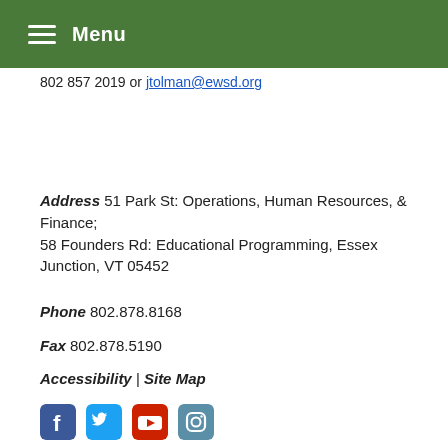Menu
802 857 2019 or jtolman@ewsd.org
Address  51 Park St: Operations, Human Resources, & Finance; 58 Founders Rd: Educational Programming, Essex Junction, VT 05452
Phone  802.878.8168
Fax  802.878.5190
Accessibility | Site Map
[Figure (other): Social media icons: Facebook, Twitter, YouTube, Instagram]